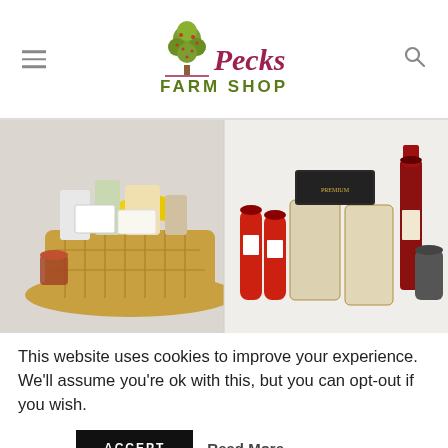Pecks Farm Shop
[Figure (photo): Two product arrangements: a wicker gift basket with yellow bow ribbon filled with gourmet food products on the left, and a collection of Italian food products including pasta, sauces, wine bottle and condiments on the right, against a white background.]
This website uses cookies to improve your experience. We'll assume you're ok with this, but you can opt-out if you wish.
ACCEPT  Read More